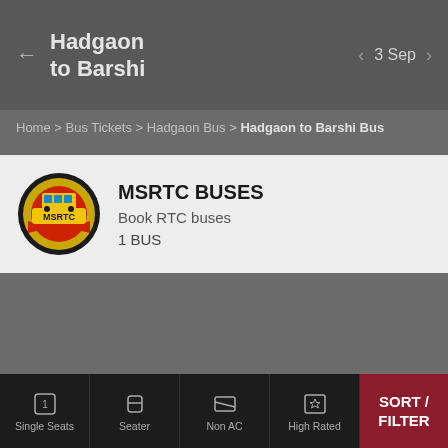Hadgaon to Barshi | 3 Sep
Home > Bus Tickets > Hadgaon Bus > Hadgaon to Barshi Bus
[Figure (logo): MSRTC circular logo with bus and text]
MSRTC BUSES
Book RTC buses
1 BUS
Single Seats | Seater | Non AC | High Rated | SORT / FILTER